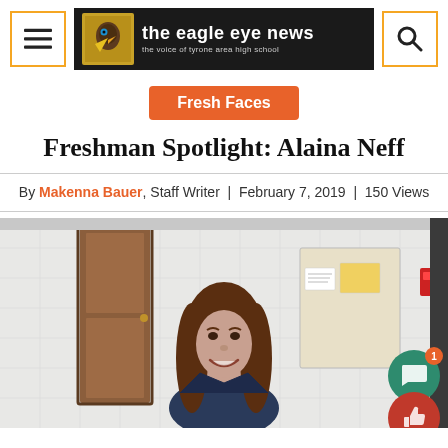the eagle eye news — the voice of tyrone area high school
Fresh Faces
Freshman Spotlight: Alaina Neff
By Makenna Bauer, Staff Writer | February 7, 2019 | 150 Views
[Figure (photo): Photo of Alaina Neff, a young woman with long brown hair, smiling in a school hallway with white tiled walls and a brown door in the background.]